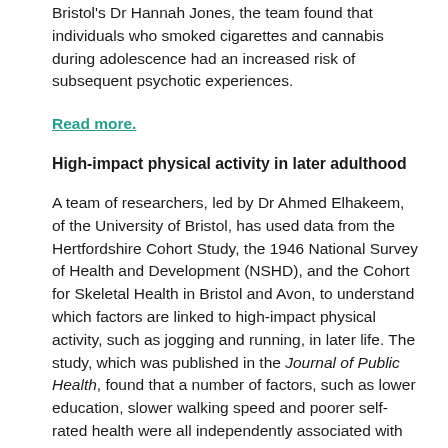Bristol's Dr Hannah Jones, the team found that individuals who smoked cigarettes and cannabis during adolescence had an increased risk of subsequent psychotic experiences.
Read more.
High-impact physical activity in later adulthood
A team of researchers, led by Dr Ahmed Elhakeem, of the University of Bristol, has used data from the Hertfordshire Cohort Study, the 1946 National Survey of Health and Development (NSHD), and the Cohort for Skeletal Health in Bristol and Avon, to understand which factors are linked to high-impact physical activity, such as jogging and running, in later life. The study, which was published in the Journal of Public Health, found that a number of factors, such as lower education, slower walking speed and poorer self-rated health were all independently associated with lower levels of high-impact physical activity in adults aged between 69 and 88 years old. The researchers concluded that certain groups of people, such as those with lower education, may benefit from supportive interventions to increase higher